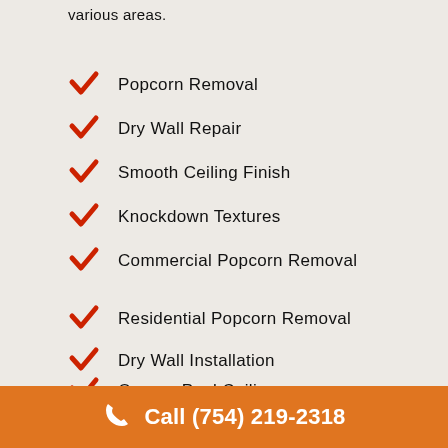various areas.
Popcorn Removal
Dry Wall Repair
Smooth Ceiling Finish
Knockdown Textures
Commercial Popcorn Removal
Residential Popcorn Removal
Dry Wall Installation
Orange Peel Ceilings
Residential Painting
Call (754) 219-2318